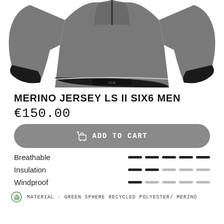[Figure (photo): Grey merino cycling jersey with long sleeves and black cuffs, shown from the front, partially cropped at top]
MERINO JERSEY LS II SIX6 MEN
€150.00
ADD TO CART
Breathable — 5 dash bars (all dark)
Insulation — 5 dash bars (2 dark, 3 light)
Windproof — 5 dash bars (1 dark, 4 light)
MATERIAL · GREEN SPHERE RECYCLED POLYESTER/ MERINO